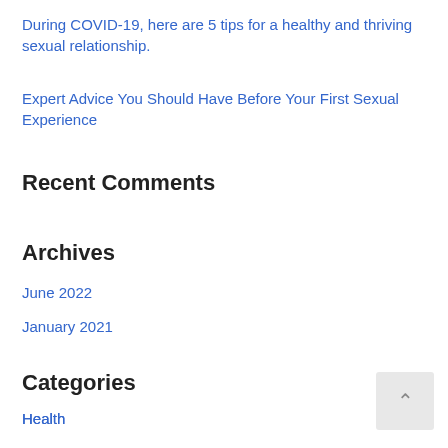During COVID-19, here are 5 tips for a healthy and thriving sexual relationship.
Expert Advice You Should Have Before Your First Sexual Experience
Recent Comments
Archives
June 2022
January 2021
Categories
Health
Sex Tips
Sexual Relationship